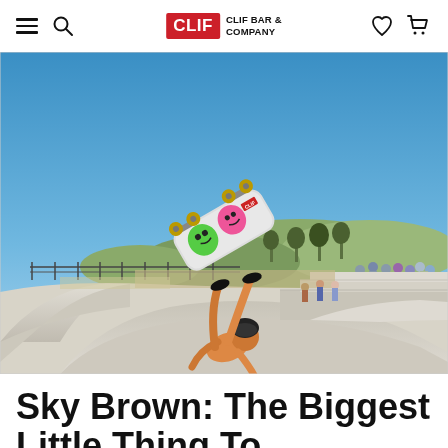CLIF BAR & COMPANY
[Figure (photo): Skateboarder performing an aerial trick upside-down with a colorful skateboard decorated with cartoon characters, at an outdoor skate park with concrete bowls and ramps, hills and trees in background under a blue sky. Crowd visible in the right background.]
Sky Brown: The Biggest Little Thing To...